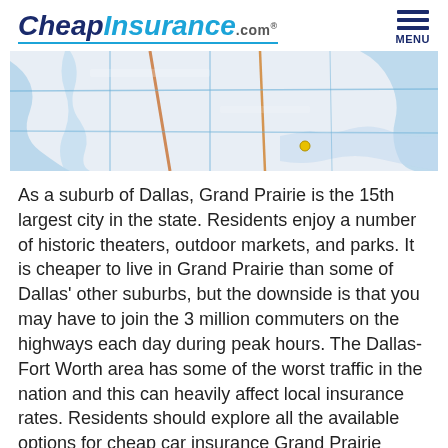CheapInsurance.com. MENU
[Figure (map): Close-up of a road map showing highways and routes around the Grand Prairie / Dallas-Fort Worth area, with blue waterways and orange/brown road lines visible.]
As a suburb of Dallas, Grand Prairie is the 15th largest city in the state. Residents enjoy a number of historic theaters, outdoor markets, and parks. It is cheaper to live in Grand Prairie than some of Dallas' other suburbs, but the downside is that you may have to join the 3 million commuters on the highways each day during peak hours. The Dallas-Fort Worth area has some of the worst traffic in the nation and this can heavily affect local insurance rates. Residents should explore all the available options for cheap car insurance Grand Prairie agents can offer.
Cheap Car Insurance Grand Prairie